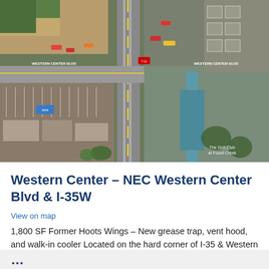[Figure (map): Aerial satellite view of the intersection of Western Center Blvd and I-35W in Fort Worth, Texas, showing commercial retail centers, parking lots, road markings, and business signage from a bird's-eye perspective.]
Western Center – NEC Western Center Blvd & I-35W
View on map
1,800 SF Former Hoots Wings – New grease trap, vent hood, and walk-in cooler Located on the hard corner of I-35 & Western Center Blvd in Fort Worth, Texas